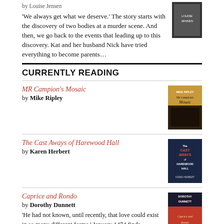by Louise Jensen
'We always get what we deserve.' The story starts with the discovery of two bodies at a murder scene. And then, we go back to the events that leading up to this discovery. Kat and her husband Nick have tried everything to become parents...
CURRENTLY READING
MR Campion's Mosaic
by Mike Ripley
The Cast Aways of Harewood Hall
by Karen Herbert
Caprice and Rondo
by Dorothy Dunnett
'He had not known, until recently, that love could exist in so many different forms.' January 1474 finds Nicholas de Fleury in Danzig. There are consequences from his vengeance in Scotland and Nicholas is in hiding. But Nicholas is not...